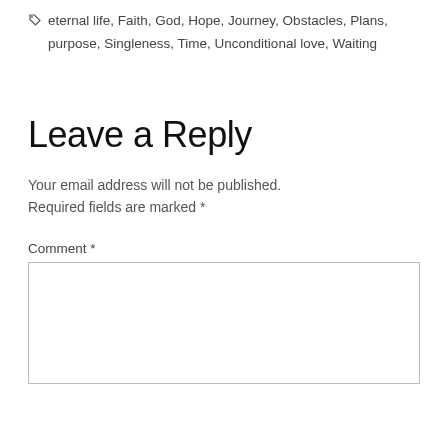eternal life, Faith, God, Hope, Journey, Obstacles, Plans, purpose, Singleness, Time, Unconditional love, Waiting
Leave a Reply
Your email address will not be published. Required fields are marked *
Comment *